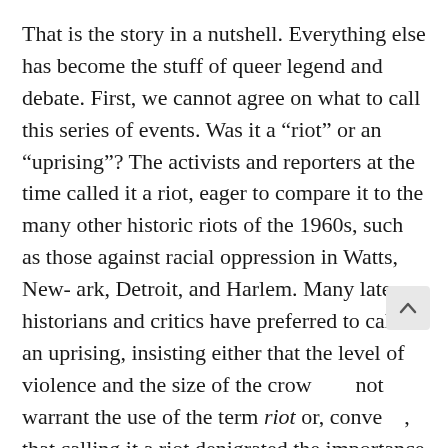That is the story in a nutshell. Everything else has become the stuff of queer legend and debate. First, we cannot agree on what to call this series of events. Was it a “riot” or an “uprising”? The activists and reporters at the time called it a riot, eager to compare it to the many other historic riots of the 1960s, such as those against racial oppression in Watts, New- ark, Detroit, and Harlem. Many later historians and critics have preferred to call it an uprising, insisting either that the level of violence and the size of the crow… not warrant the use of the term riot or, conve…, that calling it a riot denigrated the importance of the events. Stonewall is often marked as the beginning of the LGBTQ civil rights movement, but that is of course not true. LGBTQ people had been organizing politically since at least the 1950s, with the emergence of organizations such